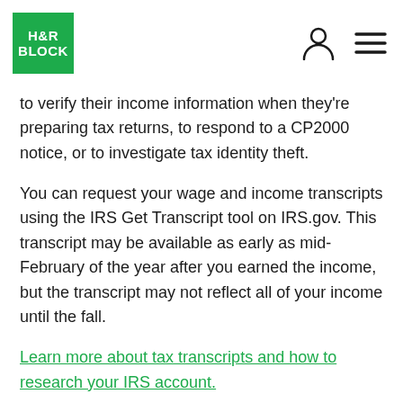H&R BLOCK
to verify their income information when they're preparing tax returns, to respond to a CP2000 notice, or to investigate tax identity theft.
You can request your wage and income transcripts using the IRS Get Transcript tool on IRS.gov. This transcript may be available as early as mid-February of the year after you earned the income, but the transcript may not reflect all of your income until the fall.
Learn more about tax transcripts and how to research your IRS account.
RELATED TAX TERMS